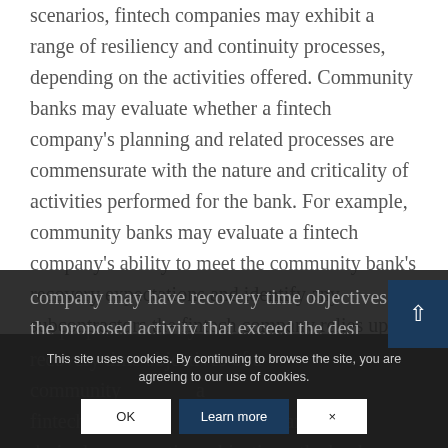scenarios, fintech companies may exhibit a range of resiliency and continuity processes, depending on the activities offered. Community banks may evaluate whether a fintech company's planning and related processes are commensurate with the nature and criticality of activities performed for the bank. For example, community banks may evaluate a fintech company's ability to meet the community bank's recovery expectations and identify any subcontractors the fintech company relies upon for recovery operations. A fintech company may have recovery time objectives for the proposed activity that exceed the desired recovery time objectives of a community bank's desired recovery time objectives, the bank may
This site uses cookies. By continuing to browse the site, you are agreeing to our use of cookies.